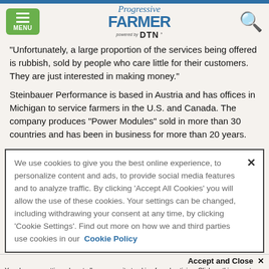Progressive Farmer powered by DTN
"Unfortunately, a large proportion of the services being offered is rubbish, sold by people who care little for their customers. They are just interested in making money."
Steinbauer Performance is based in Austria and has offices in Michigan to service farmers in the U.S. and Canada. The company produces "Power Modules" sold in more than 30 countries and has been in business for more than 20 years.
We use cookies to give you the best online experience, to personalize content and ads, to provide social media features and to analyze traffic. By clicking 'Accept All Cookies' you will allow the use of these cookies. Your settings can be changed, including withdrawing your consent at any time, by clicking 'Cookie Settings'. Find out more on how we and third parties use cookies in our  Cookie Policy
Accept and Close ×
Your browser settings do not allow cross-site tracking for advertising. Click on this page to allow AdRoll to use cross-site tracking to tailor ads to you. Learn more or opt out of this AdRoll tracking by clicking here. This message only appears once.